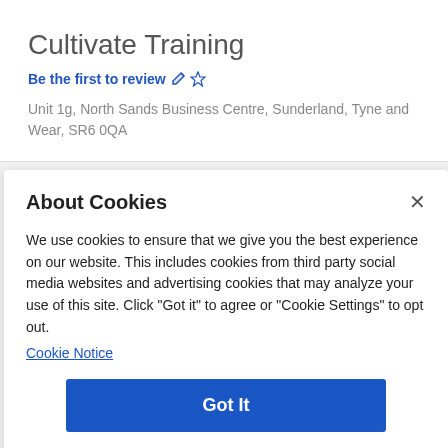Cultivate Training
Be the first to review
Unit 1g, North Sands Business Centre, Sunderland, Tyne and Wear, SR6 0QA
About Cookies
We use cookies to ensure that we give you the best experience on our website. This includes cookies from third party social media websites and advertising cookies that may analyze your use of this site. Click "Got it" to agree or "Cookie Settings" to opt out.
Cookie Notice
Got It
Cookies Settings